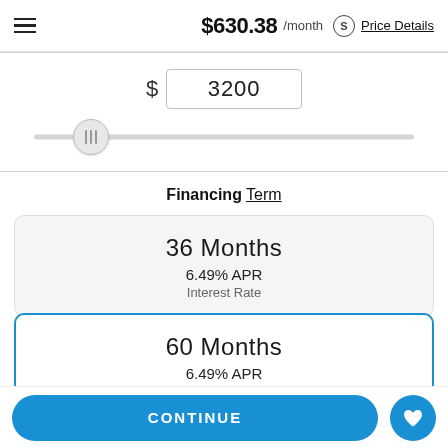$630.38 /month  Price Details
$ 3200
[Figure (other): Horizontal slider control with thumb positioned near the left side]
Financing Term
36 Months
6.49% APR
Interest Rate
60 Months
6.49% APR
Interest Rate
CONTINUE